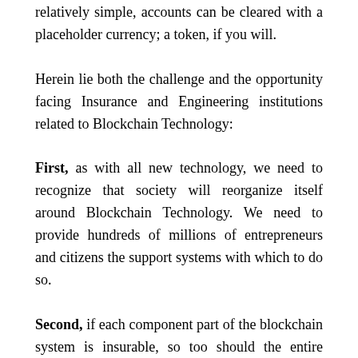relatively simple, accounts can be cleared with a placeholder currency; a token, if you will.
Herein lie both the challenge and the opportunity facing Insurance and Engineering institutions related to Blockchain Technology:
First, as with all new technology, we need to recognize that society will reorganize itself around Blockchain Technology. We need to provide hundreds of millions of entrepreneurs and citizens the support systems with which to do so.
Second, if each component part of the blockchain system is insurable, so too should the entire system. We need to insure and reinsure each individual components